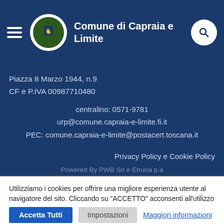Comune di Capraia e Limite
Piazza 8 Marzo 1944, n.9
CF e P.IVA 00987710480
centralino: 0571-9781
urp@comune.capraia-e-limite.fi.it
PEC: comune.capraia-e-limite@postacert.toscana.it
Privacy Policy e Cookie Policy
Powered By PWB Srl e Etruria p.a
Utilizziamo i cookies per offrire una migliore esperienza utente al navigatore del sito. Cliccando su "ACCETTO" acconsenti all'utilizzo di tutti i cookies.
Accetta Tutti | Impostazioni | Maggiori informazioni